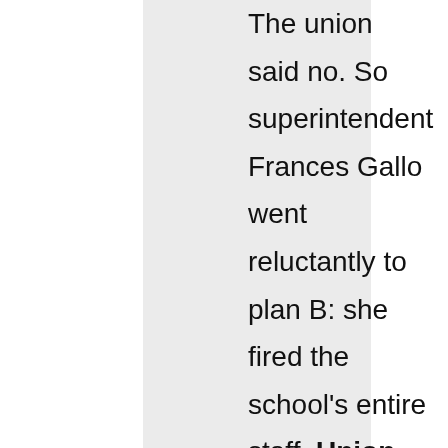The union said no. So superintendent Frances Gallo went reluctantly to plan B: she fired the school's entire staff. Union leaders seem to think that